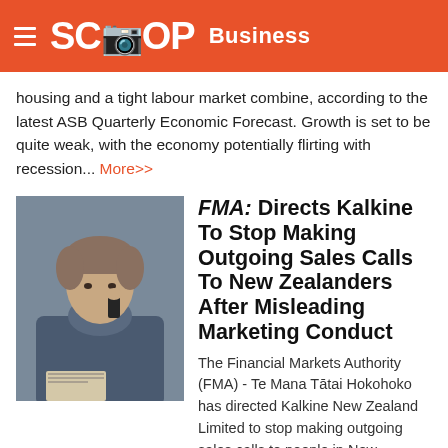SCOOP Business
housing and a tight labour market combine, according to the latest ASB Quarterly Economic Forecast. Growth is set to be quite weak, with the economy potentially flirting with recession... More>>
FMA: Directs Kalkine To Stop Making Outgoing Sales Calls To New Zealanders After Misleading Marketing Conduct
The Financial Markets Authority (FMA) - Te Mana Tātai Hokohoko has directed Kalkine New Zealand Limited to stop making outgoing sales calls to people in New Zealand following concerns about the entity's misleading marketing conduct... More>>
Get your team onto ScoopPro